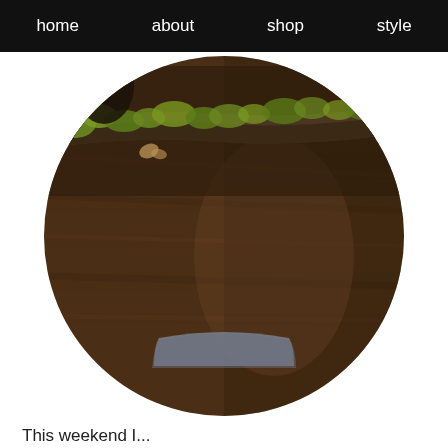home  about  shop  style
[Figure (photo): Circular cropped photo of a dark wood table surface with a moss-covered branch or log decoration in the upper portion, with green moss visible. A dark stone or ceramic object is partially visible at the top left. A grey/slate colored object is at the bottom center.]
This weekend I...
...Went with Jeff to Acadia, which is one of the most amusingly pretentious dining experiences I've ever had. Like, each appetizer bite came on a different moss-covered stick or log block. We went for the tasting menu, which